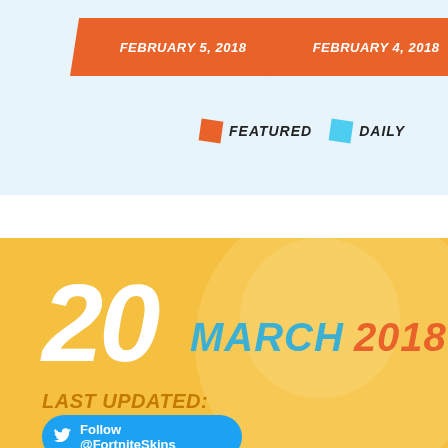FEBRUARY 5, 2018
FEBRUARY 4, 2018
FEATURED   DAILY
[Figure (infographic): Large number 20 with MARCH 2018 text on golden yellow background with decorative circular shape]
LAST UPDATED:
Follow @FortniteSkins_